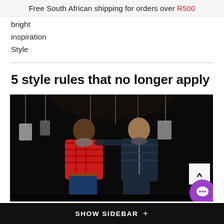Free South African shipping for orders over R500
bright
inspiration
Style
5 style rules that no longer apply
[Figure (photo): Two stylishly dressed men posing in front of hanging clothing items against a dark background. One wears a red plaid shirt with a scarf, the other wears a dark jacket with a patterned scarf.]
SHOW SIDEBAR +